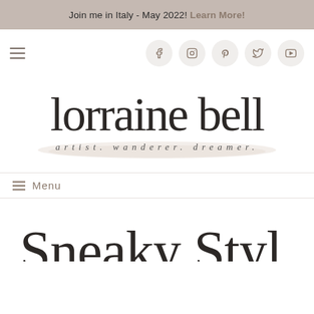Join me in Italy - May 2022! Learn More!
[Figure (logo): Navigation bar with hamburger menu icon on left and five social media icons (Facebook, Instagram, Pinterest, Twitter, YouTube) in circular buttons on the right]
[Figure (logo): Lorraine Bell logo - cursive script text reading 'lorraine bell' with subtitle 'artist. wanderer. dreamer.' on a watercolor brush stroke background]
≡ Menu
[Figure (other): Partial cursive script text reading 'Sneaky Style!' at the bottom of the page]